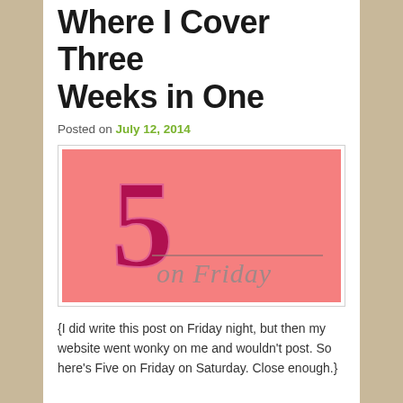Where I Cover Three Weeks in One
Posted on July 12, 2014
[Figure (illustration): Pink/salmon background with a large decorative number 5 in dark magenta/crimson and cursive text reading 'on Friday' in grey below it. Logo image for a blog feature called '5 on Friday'.]
{I did write this post on Friday night, but then my website went wonky on me and wouldn't post. So here's Five on Friday on Saturday. Close enough.}